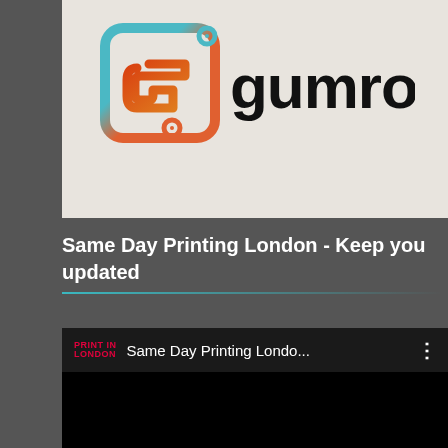[Figure (logo): Gumroad logo: stylized G icon with teal/blue and orange/red gradient colors, with 'gumroad' wordmark in black bold sans-serif text]
Same Day Printing London - Keep you updated
[Figure (screenshot): Video thumbnail/player showing 'Same Day Printing Londo...' with PRINT IN LONDON red logo icon and three-dot menu, dark background]